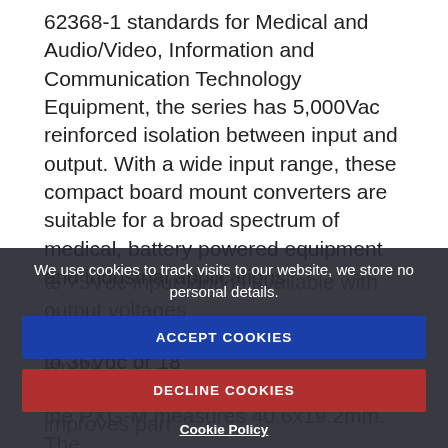62368-1 standards for Medical and Audio/Video, Information and Communication Technology Equipment, the series has 5,000Vac reinforced isolation between input and output. With a wide input range, these compact board mount converters are suitable for a broad spectrum of medical, battery powered equipment and industrial applications.
The PXG-M series accepts either a 9 to 36Vdc or 18 to 75Vdc input, and is available with output voltages of 3.3V, 5V, 12V and 24V, or 24... dual inputs reduces inventory carrying costs and improves part...
We use cookies to track visits to our website, we store no personal details.
ACCEPT COOKIES
DECLINE COOKIES
Cookie Policy
the PXG-M measures 40.6x19.2mm. The...